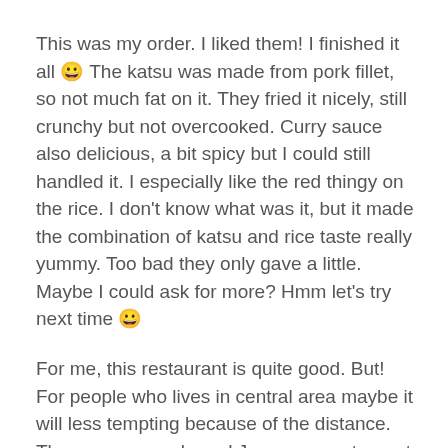This was my order. I liked them! I finished it all 😀 The katsu was made from pork fillet, so not much fat on it. They fried it nicely, still crunchy but not overcooked. Curry sauce also delicious, a bit spicy but I could still handled it. I especially like the red thingy on the rice. I don't know what was it, but it made the combination of katsu and rice taste really yummy. Too bad they only gave a little. Maybe I could ask for more? Hmm let's try next time 😀
For me, this restaurant is quite good. But! For people who lives in central area maybe it will less tempting because of the distance. There are several good Japanese restaurant as well in district 1.
For people in district 2, I think this is the best  Japanese restaurant there. I will go there again, since I often stay a